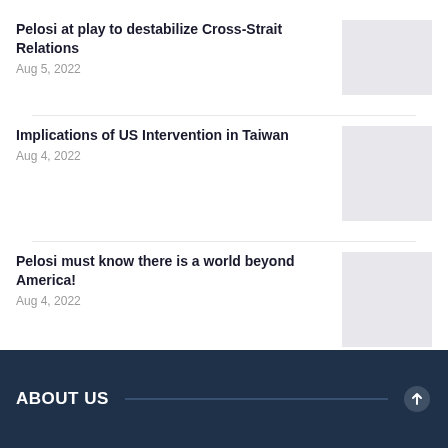Pelosi at play to destabilize Cross-Strait Relations
Aug 5, 2022
[Figure (photo): Placeholder image for article about Pelosi destabilizing Cross-Strait Relations]
Implications of US Intervention in Taiwan
Aug 4, 2022
[Figure (photo): Placeholder image for article about US Intervention in Taiwan]
Pelosi must know there is a world beyond America!
Aug 4, 2022
[Figure (photo): Placeholder image for article about Pelosi and world beyond America]
‹ PREV   NEXT ›   1 of 14
ABOUT US